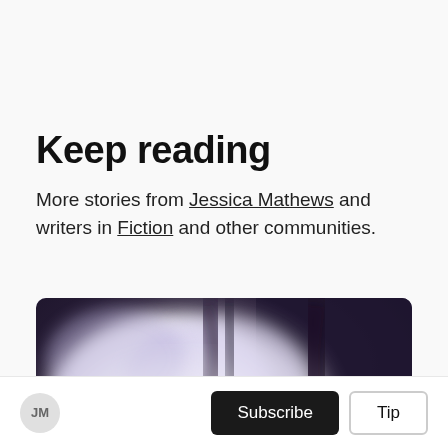Keep reading
More stories from Jessica Mathews and writers in Fiction and other communities.
[Figure (photo): A hand raised upward with white and purple smoke swirling around it against a dark background]
JM  Subscribe  Tip